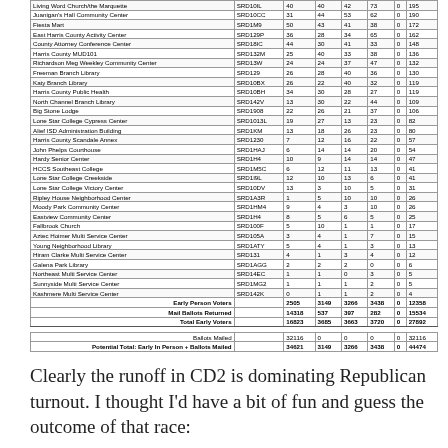| Location | Code | Col1 | Col2 | Col3 | Col4 | Col5 | Total |
| --- | --- | --- | --- | --- | --- | --- | --- |
| Living Word Church/the Marquette | SRD10IL | 40 | 40 | 42 | 73 | 0 | 195 |
| Juanigan's Hall Community Center | SRD10CC | 31 | 44 | 53 | 62 | 0 | 190 |
| Fiesta Mart | SRD1M9 | 50 | 43 | 41 | 38 | 0 | 172 |
| East Harris County Activity Center | SRD129P | 36 | 28 | 34 | 65 | 0 | 162 |
| County Attorney Conference Center | SRD18IC | 44 | 30 | 41 | 33 | 0 | 148 |
| Harris County MUD101 | SRD132M | 25 | 40 | 33 | 38 | 0 | 136 |
| Richardson Meg Weekley Community Center | SRD13W | 24 | 24 | 37 | 47 | 0 | 132 |
| Freeman Branch Library | SRD129 | 26 | 28 | 40 | 36 | 0 | 130 |
| Katy Branch Library | SRD10BX | 26 | 22 | 40 | 32 | 0 | 119 |
| Harris County Public Health | SRD10BH | 34 | 30 | 28 | 27 | 0 | 119 |
| North Channel Branch Library | SRD142V | 13 | 30 | 22 | 44 | 0 | 109 |
| Big Stone Lodge | SRD1908 | 22 | 26 | 21 | 37 | 0 | 106 |
| Lone Star College Cypress Center | SRD1013L | 19 | 27 | 13 | 23 | 0 | 82 |
| Alief ISD Administration Building | SRD1KM | 13 | 18 | 26 | 23 | 0 | 80 |
| Harris County Scandale Annex | SRD1230 | 7 | 12 | 16 | 22 | 0 | 57 |
| John Phelps Courthouse | SRD1HAJ | 6 | 14 | 14 | 20 | 0 | 54 |
| Hardy Senior Center | SRD1H4 | 10 | 9 | 14 | 14 | 0 | 47 |
| HCCS Southeast College | SRD1M5C | 6 | 12 | 11 | 13 | 0 | 41 |
| Lone Star College Creekside | SRD1I9L | 12 | 10 | 13 | 6 | 0 | 41 |
| Lone Star College Victory Center | SRD10DV | 13 | 3 | 10 | 5 | 0 | 31 |
| Ripley House Neighborhood Center | SRD1A3R | 1 | 5 | 10 | 10 | 0 | 26 |
| Moody Park Community Center | SRD1HM4 | 9 | 4 | 3 | 10 | 0 | 26 |
| Eastview Community Center | SRD1H4 | 8 | 5 | 6 | 5 | 0 | 25 |
| Fallbrook Church | SRD100F | 5 | 10 | 1 | 1 | 0 | 17 |
| Aztec Hoimer Multi Service Center | SRD105A | 3 | 4 | 1 | 7 | 0 | 15 |
| Young Neighborhood Library | SRD1ATY | 5 | 4 | 1 | 3 | 0 | 13 |
| Hiram Clarke Multi Service Center | SRD131 | 4 | 1 | 3 | 4 | 0 | 12 |
| Galena Park Library | SRD1AGG | 2 | 2 | 2 | 0 | 0 | 6 |
| Northeast Multi Service Center | SRD14EC | 1 | 1 | 0 | 3 | 0 | 5 |
| Sunnyside Multi Service Center | SRD1MG2 | 1 | 1 | 1 | 2 | 0 | 5 |
| Kashmere Multi Service Center | SRD142K | 0 | 1 | 1 | 2 | 0 | 4 |
| Early Person Voters |  | 2505 | 3149 | 3266 | 3438 | 0 | 12358 |
| Mail Ballots Returned |  | 14318 | 537 | 397 | 282 | 0 | 15534 |
| Total Early Voters |  | 16823 | 3685 | 3663 | 3720 | 0 | 27892 |
| Ballots Mailed |  | 32116 | 0 | 0 | 0 | 0 | 32116 |
| Potential Total: Early In Person + Ballots Mailed |  | 34621 | 3149 | 3266 | 3438 | 0 | 44474 |
Clearly the runoff in CD2 is dominating Republican turnout. I thought I'd have a bit of fun and guess the outcome of that race: